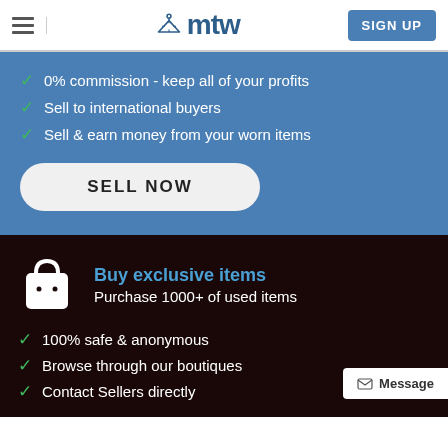mtw — SIGN UP
0% commission - keep all of your profits
Sell to international buyers
Sell & earn money from your worn items
SELL NOW
Buy exclusive items
Purchase 1000+ of used items
100% safe & anonymous
Browse through our boutiques
Contact Sellers directly
Message